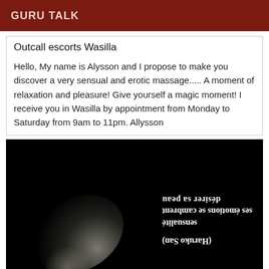GURU TALK
Outcall escorts Wasilla
Hello, My name is Alysson and I propose to make you discover a very sensual and erotic massage..... A moment of relaxation and pleasure! Give yourself a magic moment! I receive you in Wasilla by appointment from Monday to Saturday from 9am to 11pm. Allysson
[Figure (photo): Dark black and white photo with light streaks, overlaid with mirrored/upside-down French text: 'désirer sa peau / ses émotions se cambrent / sensualité / (Haruko San)']